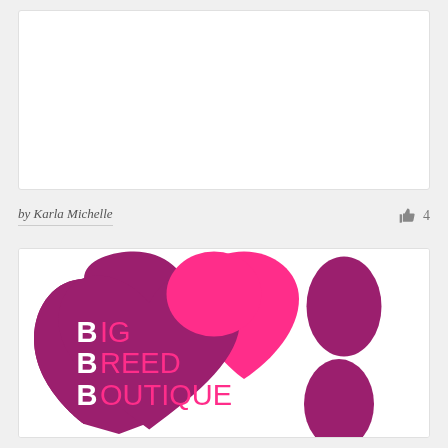[Figure (illustration): Empty white card/image area at the top of the page]
by Karla Michelle
4
[Figure (logo): Big Breed Boutique logo featuring a magenta heart shape with a bright pink upper-left lobe, white bold B letters on the left side of text lines reading BIG, BREED, BOUTIQUE in pink, and two magenta oval paw pad shapes on the right side, plus partial circles at the bottom]